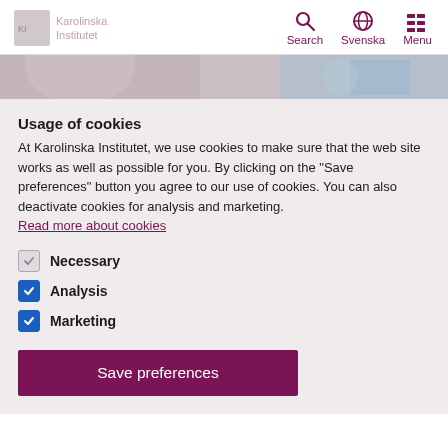Karolinska Institutet — Search | Svenska | Menu
[Figure (photo): Hero banner strip showing a person in an indoor atrium/building environment]
Usage of cookies
At Karolinska Institutet, we use cookies to make sure that the web site works as well as possible for you. By clicking on the "Save preferences" button you agree to our use of cookies. You can also deactivate cookies for analysis and marketing. Read more about cookies
Necessary
Analysis
Marketing
Save preferences